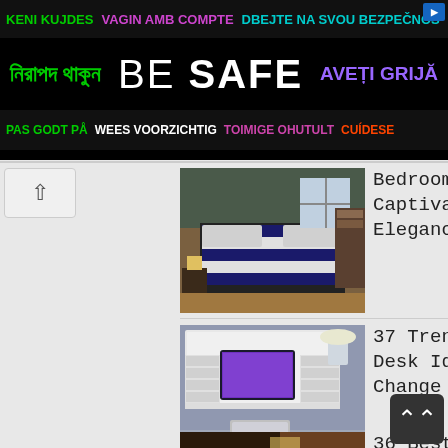[Figure (screenshot): Banner advertisement with multilingual 'BE SAFE' safety message in multiple languages and colors on black background]
[Figure (photo): Bedroom with striped blue and white bedding on dark bed frame, hardwood floors]
Bedrooms That Will Captivate You With Elegance
[Figure (photo): White wall-mounted hideaway desk with laptop/monitor and white chair on light floor]
37 Trendy Hideaway Desk Ideas That Will Change Your Home
[Figure (photo): DIY cardboard organizer with green accents and diamond pattern fabric]
36 Best Diy Cardboard Organizer That